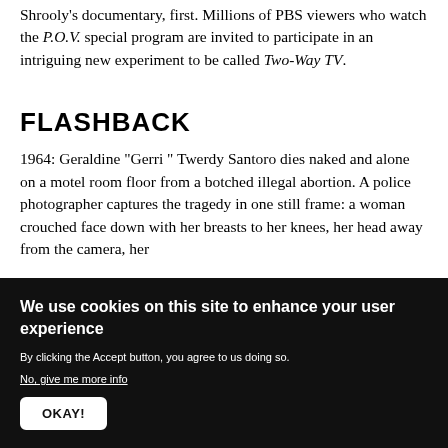Shrooly's documentary, first. Millions of PBS viewers who watch the P.O.V. special program are invited to participate in an intriguing new experiment to be called Two-Way TV.
FLASHBACK
1964: Geraldine "Gerri" Twerdy Santoro dies naked and alone on a motel room floor from a botched illegal abortion. A police photographer captures the tragedy in one still frame: a woman crouched face down with her breasts to her knees, her head away from the camera, her
We use cookies on this site to enhance your user experience
By clicking the Accept button, you agree to us doing so.
No, give me more info
OKAY!